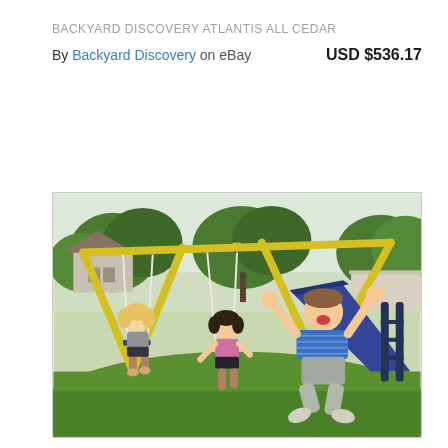BACKYARD DISCOVERY ATLANTIS ALL CEDAR
By Backyard Discovery on eBay   USD $536.17
[Figure (photo): Children playing on a swing set and slide. A toddler girl with blonde hair sits on a swing on the left. A girl in a pink top sits on another swing in the middle. A boy in a blue striped shirt slides down a blue slide with arms raised on the right. Yellow metal poles support the swing set. Green grass and trees in the background with a house visible on the left.]